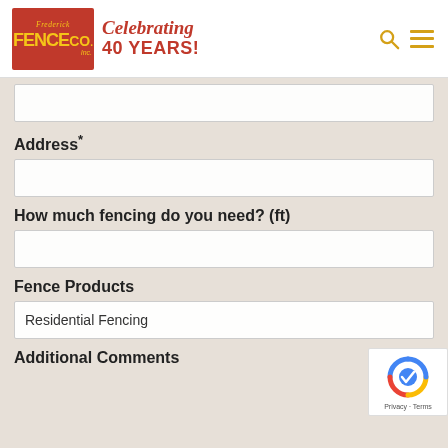[Figure (logo): Frederick Fence Co. Inc. logo on red background with yellow text, next to 'Celebrating 40 YEARS!' in red script and bold]
(partial input field)
Address*
(address input field)
How much fencing do you need? (ft)
(fencing amount input field)
Fence Products
Residential Fencing
Additional Comments
[Figure (other): Google reCAPTCHA badge with blue/red/yellow circular icon and 'Privacy - Terms' text]